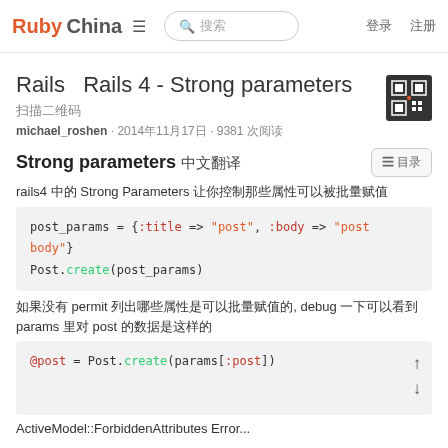Ruby China  ☰  🔍 搜索  登录  注册
Rails  Rails 4 - Strong parameters
扫描二维码
michael_roshen · 2014年11月17日 · 9381 次阅读
Strong parameters 中文翻译
rails4 中的 Strong Parameters 让你控制那些属性可以被批量赋值
[Figure (screenshot): Code block: post_params = {:title => "post", :body => "post body"}
Post.create(post_params)]
如果没有 permit 列出哪些属性是可以批量赋值的, debug 一下可以看到 params 里对 post 的数据是这样的
[Figure (screenshot): Code block: @post = Post.create(params[:post])]
ActiveModel::ForbiddenAttributes Error...